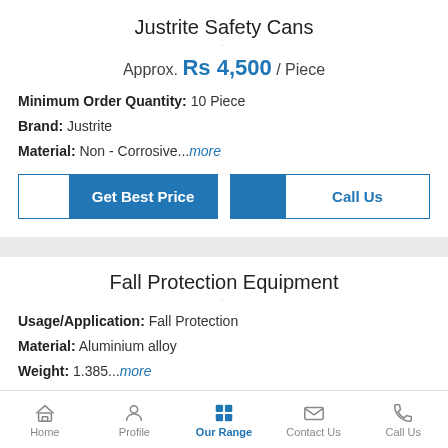Justrite Safety Cans
Approx. Rs 4,500 / Piece
Minimum Order Quantity: 10 Piece
Brand: Justrite
Material: Non - Corrosive...more
Fall Protection Equipment
Usage/Application: Fall Protection
Material: Aluminium alloy
Weight: 1.385...more
Home | Profile | Our Range | Contact Us | Call Us